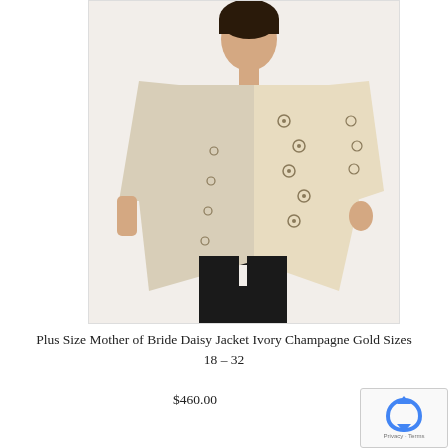[Figure (photo): A woman modeling a plus size ivory champagne gold daisy jacket with floral lace sleeves, worn open over a black top and black trousers, against a white background.]
Plus Size Mother of Bride Daisy Jacket Ivory Champagne Gold Sizes 18 – 32
$460.00